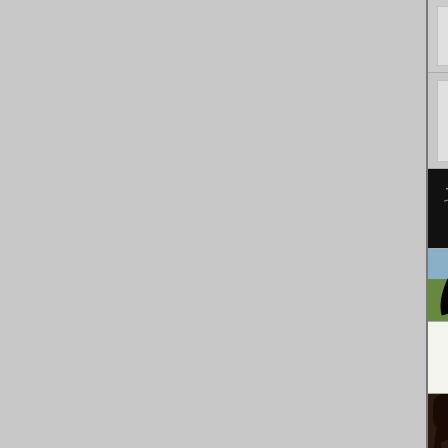[Figure (screenshot): Partial screenshot of a photography forum/community user list. Shows 6 user rows, each with a profile picture (or placeholder), username, camera model, lens model, a date column (partially visible showing '12/0...'), a comment snippet, and a tools/action icon. Users shown: Mike_Adams (Canon EOS-40D, Canon EF 70-200mm...), lwkimages (Canon EOS-5D Mark II, Canon EF 24-105mm...), JeniY (Canon EOS-40D, Tamron SP AF 28-75...), booboo_goon (Canon EOS-7D Mark II, Canon EF 17-40mm f/...), Nullix (Canon EOS-5D Mark III, Canon EF 17-40mm f/...), mystical_princess (Canon EOS-5D). Left portion of page is gray background.]